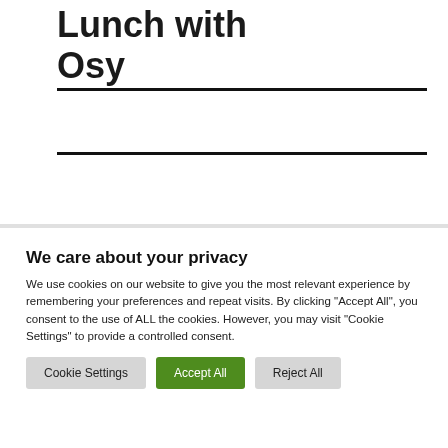Lunch with Osy
We care about your privacy
We use cookies on our website to give you the most relevant experience by remembering your preferences and repeat visits. By clicking “Accept All”, you consent to the use of ALL the cookies. However, you may visit "Cookie Settings" to provide a controlled consent.
Cookie Settings | Accept All | Reject All